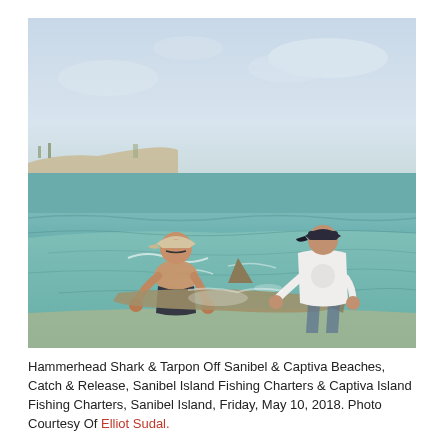[Figure (photo): Two men standing in shallow ocean water, handling what appears to be a large fish (shark/tarpon). The man on the left is shirtless wearing a cap, the man on the right wears a white t-shirt and dark cap. A fin is visible above the water surface. Background shows a sandy beach shoreline and overcast sky.]
Hammerhead Shark & Tarpon Off Sanibel & Captiva Beaches, Catch & Release, Sanibel Island Fishing Charters & Captiva Island Fishing Charters, Sanibel Island, Friday, May 10, 2018. Photo Courtesy Of Elliot Sudal.